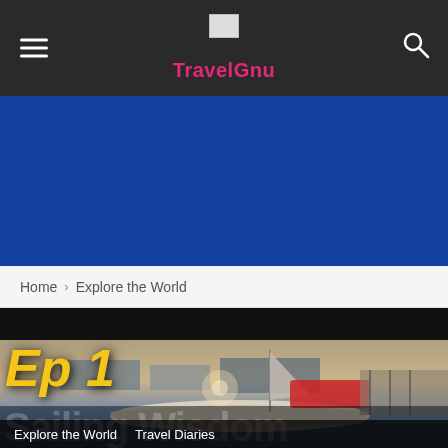TravelGnu
[Figure (other): Blue advertisement banner area]
Home › Explore the World
[Figure (photo): Sailing boat docked at marina during sunset/dusk, with text overlay 'Ep 1' in bold yellow italic font and 'Sailing Wisdom' in large white/grey letters at the bottom]
Explore the World
Travel Diaries